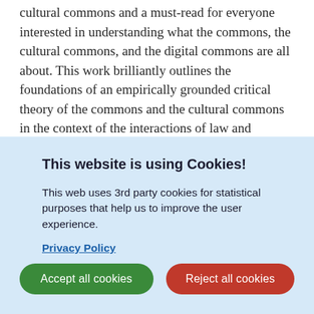Antonios Broumas' book is an excellent critical analysis of the cultural commons and a must-read for everyone interested in understanding what the commons, the cultural commons, and the digital commons are all about. This work brilliantly outlines the foundations of an empirically grounded critical theory of the commons and the cultural commons in the context of the interactions of law and society.' — Christian Fuchs, Professor of Media and Communication Studies, author of Communication and Capitalism: A Critical Theory
This website is using Cookies!
This web uses 3rd party cookies for statistical purposes that help us to improve the user experience.
Privacy Policy
Accept all cookies
Reject all cookies